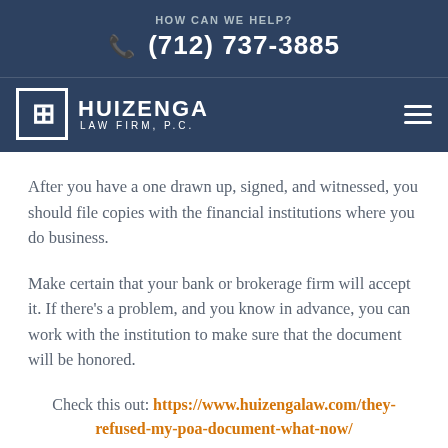HOW CAN WE HELP?
(712) 737-3885
[Figure (logo): Huizenga Law Firm, P.C. logo with stylized H in a square box]
After you have a one drawn up, signed, and witnessed, you should file copies with the financial institutions where you do business.
Make certain that your bank or brokerage firm will accept it. If there’s a problem, and you know in advance, you can work with the institution to make sure that the document will be honored.
Check this out: https://www.huizengalaw.com/they-refused-my-poa-document-what-now/